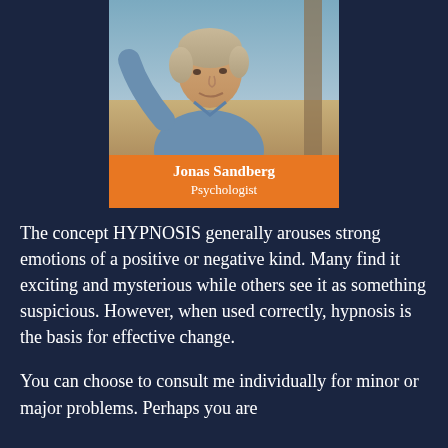[Figure (photo): Portrait photo of Jonas Sandberg, a middle-aged man with light hair wearing a blue shirt, outdoors background.]
Jonas Sandberg
Psychologist
The concept HYPNOSIS generally arouses strong emotions of a positive or negative kind. Many find it exciting and mysterious while others see it as something suspicious. However, when used correctly, hypnosis is the basis for effective change.
You can choose to consult me individually for minor or major problems. Perhaps you are...